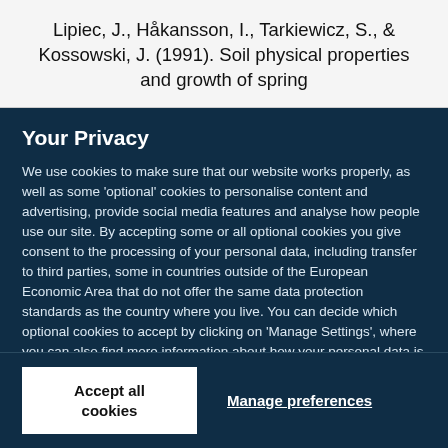Lipiec, J., Håkansson, I., Tarkiewicz, S., & Kossowski, J. (1991). Soil physical properties and growth of spring
Your Privacy
We use cookies to make sure that our website works properly, as well as some 'optional' cookies to personalise content and advertising, provide social media features and analyse how people use our site. By accepting some or all optional cookies you give consent to the processing of your personal data, including transfer to third parties, some in countries outside of the European Economic Area that do not offer the same data protection standards as the country where you live. You can decide which optional cookies to accept by clicking on 'Manage Settings', where you can also find more information about how your personal data is processed. Further information can be found in our privacy policy.
Accept all cookies
Manage preferences